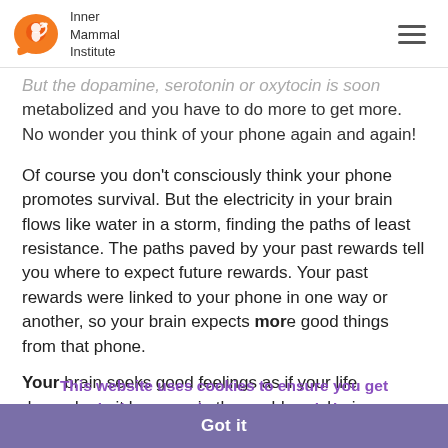Inner Mammal Institute
But the dopamine, serotonin or oxytocin is soon metabolized and you have to do more to get more. No wonder you think of your phone again and again!
Of course you don't consciously think your phone promotes survival. But the electricity in your brain flows like water in a storm, finding the paths of least resistance. The paths paved by your past rewards tell you where to expect future rewards. Your past rewards were linked to your phone in one way or another, so your brain expects more good things from that phone.
Your brain seeks good feelings as if your life depends on it because in the world your brain evolved in, anything that triggered a good feeling was good for survival. You pick up your phone whenever you have a spare moment because your brain keeps seeking happy chemicals in ways that worked before.
This website uses cookies to ensure you get the best experience on our website.
Learn more
Got it